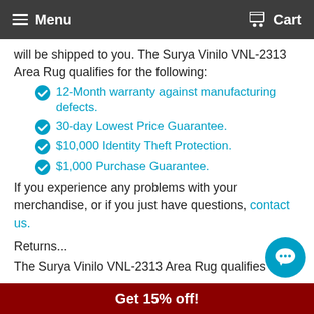Menu  Cart
will be shipped to you. The Surya Vinilo VNL-2313 Area Rug qualifies for the following:
12-Month warranty against manufacturing defects.
30-day Lowest Price Guarantee.
$10,000 Identity Theft Protection.
$1,000 Purchase Guarantee.
If you experience any problems with your merchandise, or if you just have questions, contact us.
Returns...
The Surya Vinilo VNL-2313 Area Rug qualifies for the following Return Policy:
Free return shipping on one Sample Swatch area rug when 5x8 or larger is ordered.
Get 15% off!